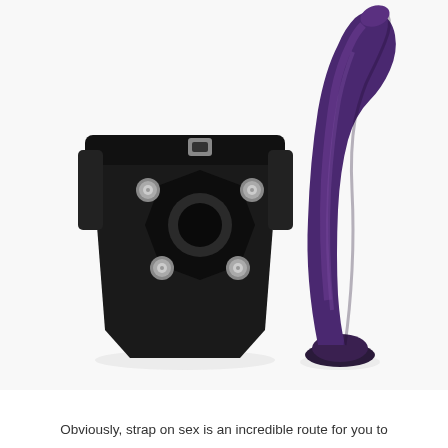[Figure (photo): Product photo showing a black strap-on harness with metal snaps and buckles on the left, and a curved purple/dark silicone dildo with a suction cup base standing upright on the right, against a white background.]
Obviously, strap on sex is an incredible route for you to